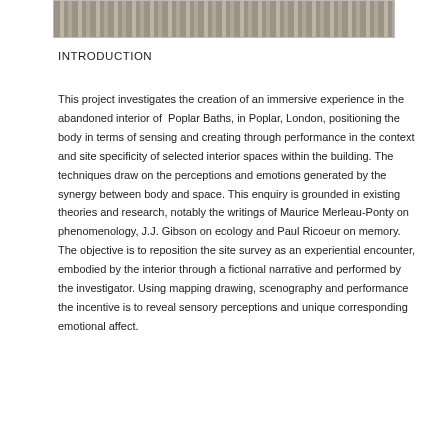[Figure (photo): A black and white photograph showing a row of figures or sculptures, partially cropped at the top of the page.]
INTRODUCTION
This project investigates the creation of an immersive experience in the abandoned interior of Poplar Baths, in Poplar, London, positioning the body in terms of sensing and creating through performance in the context and site specificity of selected interior spaces within the building. The techniques draw on the perceptions and emotions generated by the synergy between body and space. This enquiry is grounded in existing theories and research, notably the writings of Maurice Merleau-Ponty on phenomenology, J.J. Gibson on ecology and Paul Ricoeur on memory. The objective is to reposition the site survey as an experiential encounter, embodied by the interior through a fictional narrative and performed by the investigator. Using mapping drawing, scenography and performance the incentive is to reveal sensory perceptions and unique corresponding emotional affect.